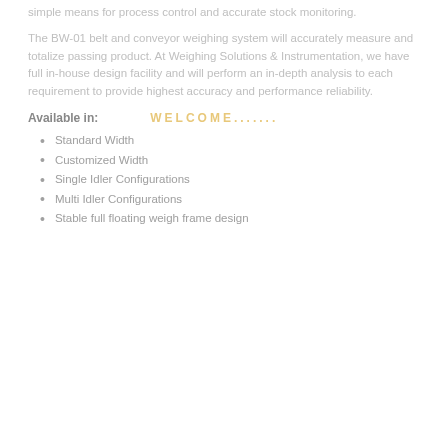simple means for process control and accurate stock monitoring.
The BW-01 belt and conveyor weighing system will accurately measure and totalize passing product. At Weighing Solutions & Instrumentation, we have full in-house design facility and will perform an in-depth analysis to each requirement to provide highest accuracy and performance reliability.
Available in:    WELCOME.......
Standard Width
Customized Width
Single Idler Configurations
Multi Idler Configurations
Stable full floating weigh frame design